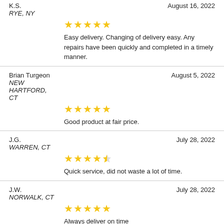K.S. | August 16, 2022 | RYE, NY | ★★★★★ | Easy delivery. Changing of delivery easy. Any repairs have been quickly and completed in a timely manner.
Brian Turgeon | August 5, 2022 | NEW HARTFORD, CT | ★★★★★ | Good product at fair price.
J.G. | July 28, 2022 | WARREN, CT | ★★★★½ | Quick service, did not waste a lot of time.
J.W. | July 28, 2022 | NORWALK, CT | ★★★★★ | Always deliver on time
T.I. | July 27, 2022